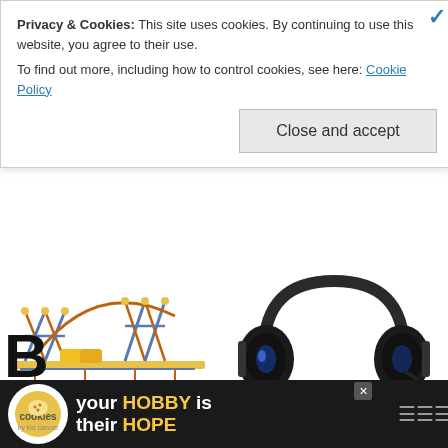Privacy & Cookies: This site uses cookies. By continuing to use this website, you agree to their use.
To find out more, including how to control cookies, see here: Cookie Policy
Close and accept
[Figure (photo): K'Nex roller coaster kit toy set with yellow and orange tracks]
[Figure (photo): Black and blue 7.1 channel surround sound gaming headset with cables]
Daily Deals: 50% off K'Nex Roller Coaster Kit, 7.1 Channel Surround Sound Gaming Headset for $27
July 6, 2016   Ken Denmead —
AFFILIATE LINKS
[Figure (photo): Partial bottom advertisement bar: cookies by kid cancer / your HOBBY is their HOPE]
B